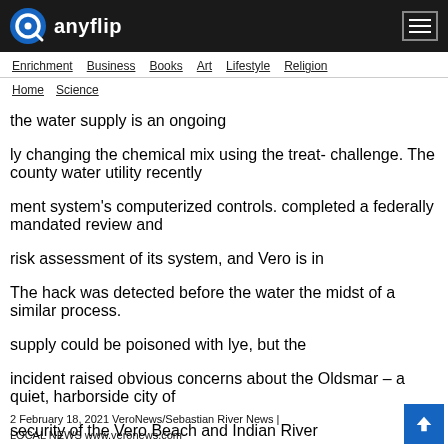anyflip
Enrichment  Business  Books  Art  Lifestyle  Religion
Home  Science
the water supply is an ongoing
ly changing the chemical mix using the treat- challenge. The county water utility recently
ment system's computerized controls. completed a federally mandated review and
risk assessment of its system, and Vero is in
The hack was detected before the water the midst of a similar process.
supply could be poisoned with lye, but the
incident raised obvious concerns about the Oldsmar – a quiet, harborside city of
security of the Vero Beach and Indian River
CONTINUED ON PAGE 6
2 February 18, 2021 VeroNews/Sebastian River News | LOCAL NEWS www.veronews.com